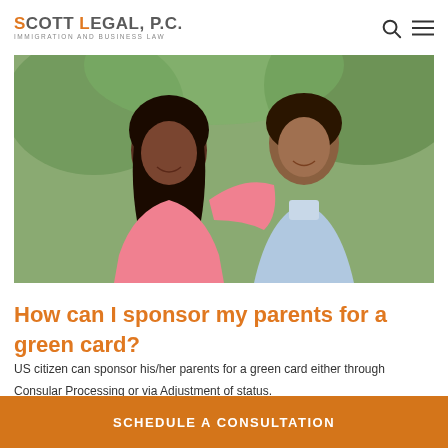SCOTT LEGAL, P.C. IMMIGRATION AND BUSINESS LAW
[Figure (photo): Two women smiling together outdoors, one in a pink top and one in a light blue top]
How can I sponsor my parents for a green card?
US citizen can sponsor his/her parents for a green card either through Consular Processing or via Adjustment of status.
SCHEDULE A CONSULTATION